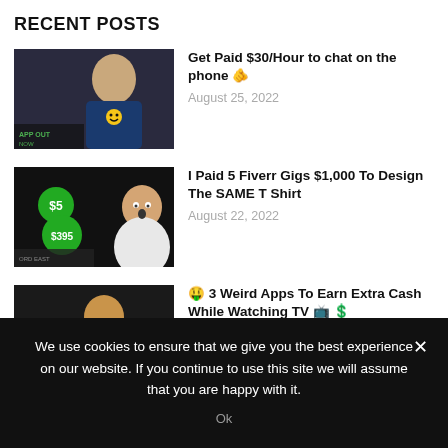RECENT POSTS
Get Paid $30/Hour to chat on the phone 🫵
August 25, 2022
I Paid 5 Fiverr Gigs $1,000 To Design The SAME T Shirt
August 22, 2022
🤑 3 Weird Apps To Earn Extra Cash While Watching TV 📺 💲
August 19, 2022
We use cookies to ensure that we give you the best experience on our website. If you continue to use this site we will assume that you are happy with it.
Ok